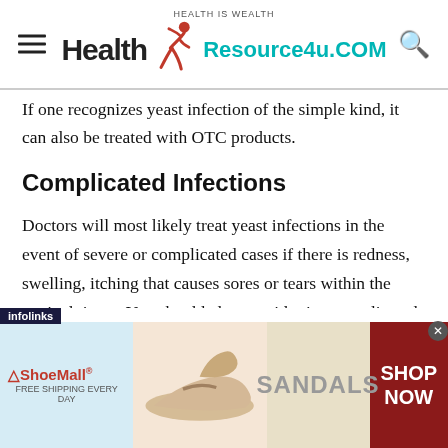Health Is Wealth | HealthResource4u.COM
If one recognizes yeast infection of the simple kind, it can also be treated with OTC products.
Complicated Infections
Doctors will most likely treat yeast infections in the event of severe or complicated cases if there is redness, swelling, itching that causes sores or tears within the vaginal tissue. You should also consider it a complicated infection if there are more than 4
[Figure (screenshot): Advertisement banner from ShoeMall showing sandals with 'SHOP NOW' call to action on a dark red background, with infolinks bar overlay]